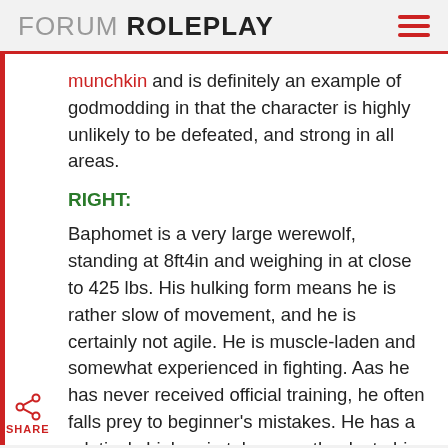FORUM ROLEPLAY
munchkin and is definitely an example of godmodding in that the character is highly unlikely to be defeated, and strong in all areas.
RIGHT:
Baphomet is a very large werewolf, standing at 8ft4in and weighing in at close to 425 lbs. His hulking form means he is rather slow of movement, and he is certainly not agile. He is muscle-laden and somewhat experienced in fighting. Aas he has never received official training, he often falls prey to beginner's mistakes. He has a relatively high pain tolerance, thanks to his torture. Despite his dark past, he is a calm